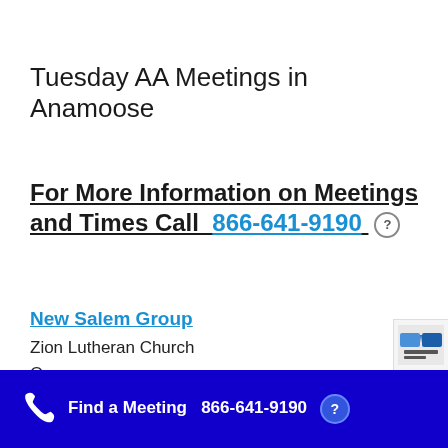Tuesday AA Meetings in Anamoose
For More Information on Meetings and Times Call  866-641-9190
New Salem Group
Zion Lutheran Church
Open
Find a Meeting  866-641-9190